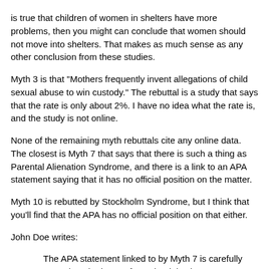is true that children of women in shelters have more problems, then you might can conclude that women should not move into shelters. That makes as much sense as any other conclusion from these studies.
Myth 3 is that "Mothers frequently invent allegations of child sexual abuse to win custody." The rebuttal is a study that says that the rate is only about 2%. I have no idea what the rate is, and the study is not online.
None of the remaining myth rebuttals cite any online data. The closest is Myth 7 that says that there is such a thing as Parental Alienation Syndrome, and there is a link to an APA statement saying that it has no official position on the matter.
Myth 10 is rebutted by Stockholm Syndrome, but I think that you'll find that the APA has no official position on that either.
John Doe writes:
The APA statement linked to by Myth 7 is carefully neutral on the issue of PAS but it is also